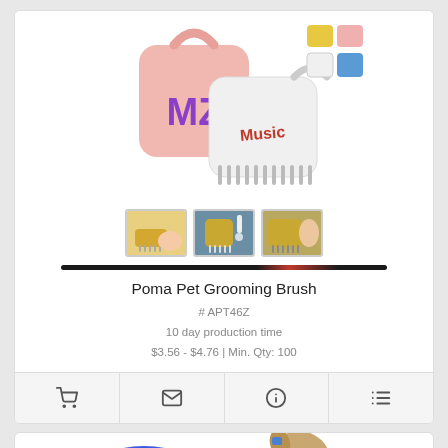[Figure (photo): Poma Pet Grooming Brush product photo showing pink and white versions of the brush, with color swatches (yellow, pink, white, blue) and three thumbnail images showing the brush in use]
Poma Pet Grooming Brush
# APT46Z
10 day production time
$3.56 - $4.76 | Min. Qty: 100
[Figure (photo): Bottom portion of a second product card showing a blue pet grooming item and a small animal (likely a dog or cat)]